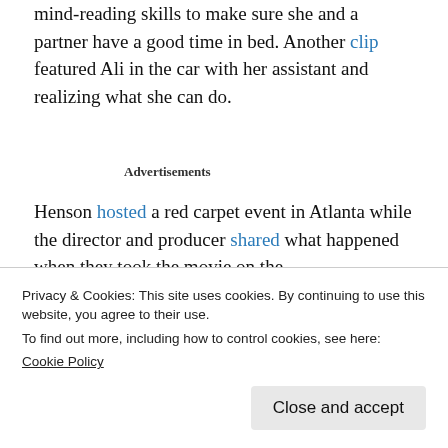mind-reading skills to make sure she and a partner have a good time in bed. Another clip featured Ali in the car with her assistant and realizing what she can do.
Advertisements
Henson hosted a red carpet event in Atlanta while the director and producer shared what happened when they took the movie on the
Privacy & Cookies: This site uses cookies. By continuing to use this website, you agree to their use.
To find out more, including how to control cookies, see here:
Cookie Policy
Close and accept